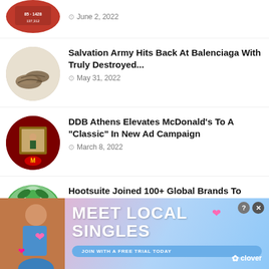June 2, 2022
Salvation Army Hits Back At Balenciaga With Truly Destroyed... — May 31, 2022
DDB Athens Elevates McDonald's To A "Classic" In New Ad Campaign — March 8, 2022
Hootsuite Joined 100+ Global Brands To Support WWF's
[Figure (advertisement): Ad banner: MEET LOCAL SINGLES with JOIN WITH A FREE TRIAL TODAY, clover logo, infolinks badge]